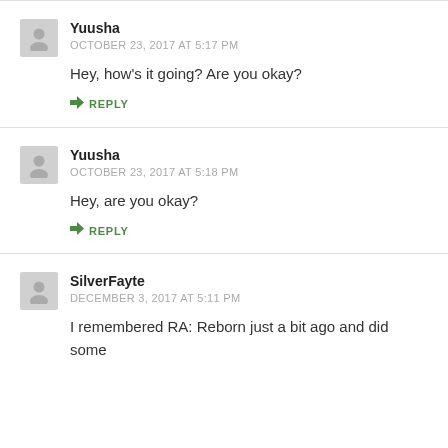Yuusha
OCTOBER 23, 2017 AT 5:17 PM
Hey, how's it going? Are you okay?
REPLY
Yuusha
OCTOBER 23, 2017 AT 5:18 PM
Hey, are you okay?
REPLY
SilverFayte
DECEMBER 3, 2017 AT 5:11 PM
I remembered RA: Reborn just a bit ago and did some